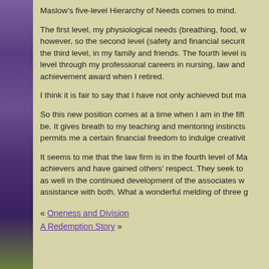Maslow's five-level Hierarchy of Needs comes to mind.
The first level, my physiological needs (breathing, food, w... however, so the second level (safety and financial securit... the third level, in my family and friends. The fourth level is... level through my professional careers in nursing, law and... achievement award when I retired.
I think it is fair to say that I have not only achieved but ma...
So this new position comes at a time when I am in the fift... be. It gives breath to my teaching and mentoring instincts... permits me a certain financial freedom to indulge creativit...
It seems to me that the law firm is in the fourth level of Ma... achievers and have gained others' respect. They seek to... as well in the continued development of the associates w... assistance with both. What a wonderful melding of three g...
« Oneness and Division
A Redemption Story »